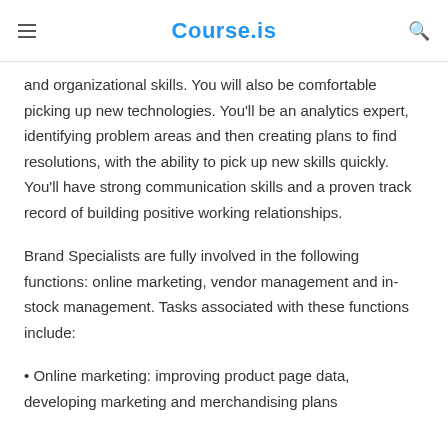Course.is
and organizational skills. You will also be comfortable picking up new technologies. You'll be an analytics expert, identifying problem areas and then creating plans to find resolutions, with the ability to pick up new skills quickly. You'll have strong communication skills and a proven track record of building positive working relationships.
Brand Specialists are fully involved in the following functions: online marketing, vendor management and in-stock management. Tasks associated with these functions include:
• Online marketing: improving product page data, developing marketing and merchandising plans